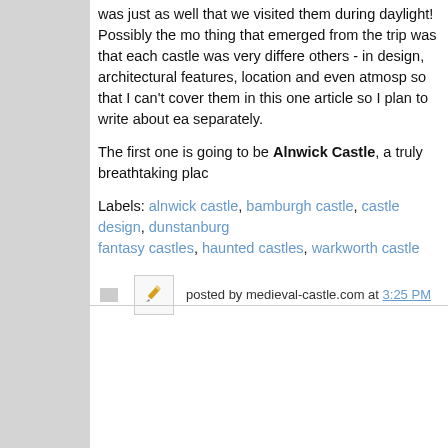was just as well that we visited them during daylight! Possibly the most interesting thing that emerged from the trip was that each castle was very different from the others - in design, architectural features, location and even atmosphere - so much so that I can't cover them in this one article so I plan to write about each one separately.
The first one is going to be Alnwick Castle, a truly breathtaking plac...
Labels: alnwick castle, bamburgh castle, castle design, dunstanburgh..., fantasy castles, haunted castles, warkworth castle
posted by medieval-castle.com at 3:25 PM